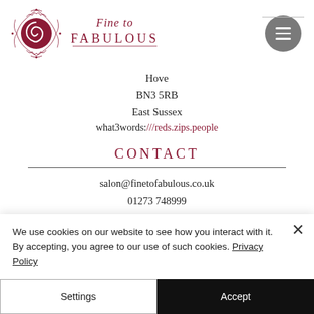[Figure (logo): Fine to Fabulous salon logo with decorative emblem and stylized text]
Hove
BN3 5RB
East Sussex
what3words:///reds.zips.people
CONTACT
salon@finetofabulous.co.uk
01273 748999
07844 507185
We use cookies on our website to see how you interact with it. By accepting, you agree to our use of such cookies. Privacy Policy